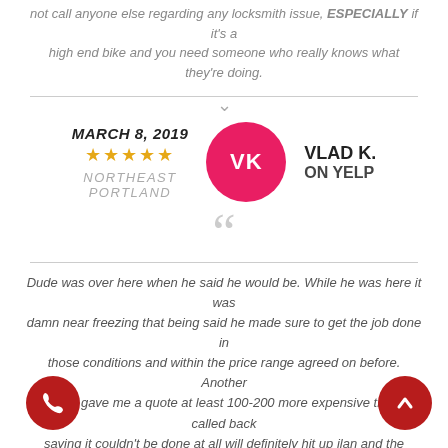not call anyone else regarding any locksmith issue, ESPECIALLY if it's a high end bike and you need someone who really knows what they're doing.
MARCH 8, 2019 ★★★★★ NORTHEAST PORTLAND   VK   VLAD K. ON YELP
Dude was over here when he said he would be. While he was here it was damn near freezing that being said he made sure to get the job done in those conditions and within the price range agreed on before. Another ny gave me a quote at least 100-200 more expensive th called back saying it couldn't be done at all will definitely hit up ilan and the